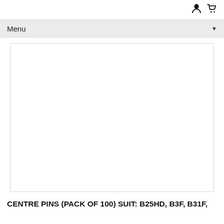user icon, cart icon
Menu
[Figure (other): Large white empty product image area with light grey border]
CENTRE PINS (PACK OF 100) SUIT: B25HD, B3F, B31F,